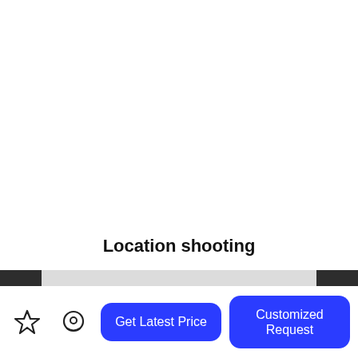Location shooting
[Figure (photo): Partial view of a sign showing HOMEDER logo (blue diamond shape) and partial text, with dark panels on left and right edges]
[Figure (other): Mobile app bottom navigation bar with star (favorite) icon, support/chat icon, 'Get Latest Price' button, and 'Customized Request' button]